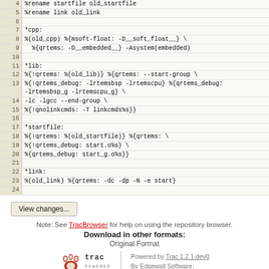[Figure (screenshot): Code viewer showing lines 4-24 of a file with line numbers and monospace code content]
View changes...
Note: See TracBrowser for help on using the repository browser.
Download in other formats:
Original Format
Powered by Trac 1.2.1.dev0 By Edgewall Software.